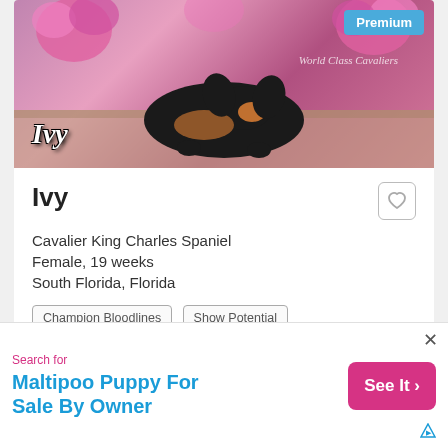[Figure (photo): Photo of a Cavalier King Charles Spaniel puppy named Ivy on a floral background, with 'World Class Cavaliers' watermark and 'Premium' badge]
Ivy
Cavalier King Charles Spaniel
Female, 19 weeks
South Florida, Florida
Champion Bloodlines
Show Potential
Learn more >
[Figure (photo): Photo of a Cavalier King Charles Spaniel puppy surrounded by tropical leaves]
Search for
Maltipoo Puppy For Sale By Owner
See It >